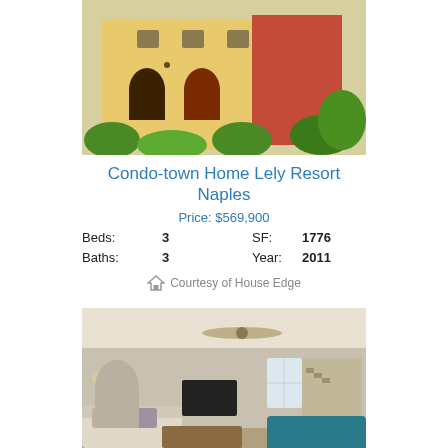[Figure (photo): Exterior photo of Mediterranean-style townhome with arched entries, yellow stucco, red accents, and lush greenery]
Condo-town Home Lely Resort Naples
Price: $569,900
Beds: 3   SF: 1776
Baths: 3   Year: 2011
Courtesy of House Edge
[Figure (photo): Interior photo of a living room with ceiling fan, TV, couch, coffee table, and staircase]
Condo-town Home Lely Resort Naples
Price: $495,000